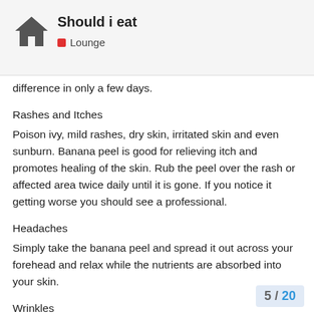Should i eat — Lounge
difference in only a few days.
Rashes and Itches
Poison ivy, mild rashes, dry skin, irritated skin and even sunburn. Banana peel is good for relieving itch and promotes healing of the skin. Rub the peel over the rash or affected area twice daily until it is gone. If you notice it getting worse you should see a professional.
Headaches
Simply take the banana peel and spread it out across your forehead and relax while the nutrients are absorbed into your skin.
Wrinkles
Regularly applying banana peel to your forehead and cheeks can tighten the skin, shrink pores a…
5 / 20